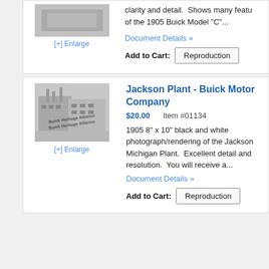[Figure (photo): Thumbnail image of a Buick Model C document, partially visible at top]
[+] Enlarge
clarity and detail.  Shows many features of the 1905 Buick Model "C"...
Document Details »
Add to Cart:
Reproduction
Jackson Plant - Buick Motor Company
$20.00        Item #01134
[Figure (illustration): Black and white photograph/rendering of the Jackson Michigan Buick plant with 'Buick Heritage Alliance' watermark overlay]
[+] Enlarge
1905 8" x 10" black and white photograph/rendering of the Jackson Michigan Plant.  Excellent detail and resolution.  You will receive a...
Document Details »
Add to Cart:
Reproduction